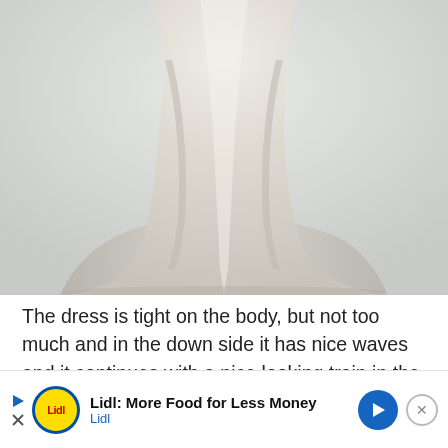[Figure (photo): Close-up photograph of the lower half of a silky white/silver satin wedding dress on a mannequin, showing a fitted bodice that flares into a long sweeping train at the back, shot against a light grey background.]
The dress is tight on the body, but not too much and in the down side it has nice waves and it continues with a nice looking train in the back side. Also, let's mention that the fabric [... ooks as if it ...]
[Figure (other): Lidl advertisement overlay banner with play button, Lidl logo, text 'Lidl: More Food for Less Money / Lidl', a blue arrow icon, and a close (X) button.]